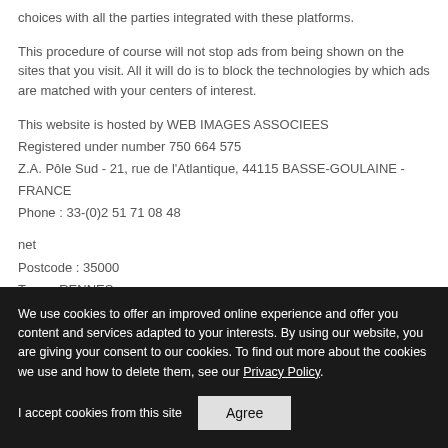choices with all the parties integrated with these platforms.
This procedure of course will not stop ads from being shown on the sites that you visit. All it will do is to block the technologies by which ads are matched with your centers of interest.
This website is hosted by WEB IMAGES ASSOCIEES
Registered under number 750 664 575
Z.A. Pôle Sud - 21, rue de l'Atlantique, 44115 BASSE-GOULAINE - FRANCE
Phone : 33-(0)2 51 71 08 48
net
Postcode : 35000
Town : RENNES
Region : Brittany Country : France
Téléphone : 33-(0)299 382 300
Email : vidoneurope@vidon.com
We use cookies to offer an improved online experience and offer you content and services adapted to your interests. By using our website, you are giving your consent to our cookies. To find out more about the cookies we use and how to delete them, see our Privacy Policy. I accept cookies from this site [Agree]